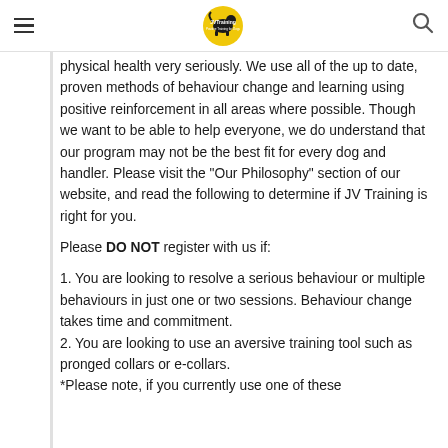JVTraining — Positive Training for Dogs (navigation bar with hamburger menu and search icon)
physical health very seriously. We use all of the up to date, proven methods of behaviour change and learning using positive reinforcement in all areas where possible. Though we want to be able to help everyone, we do understand that our program may not be the best fit for every dog and handler. Please visit the "Our Philosophy" section of our website, and read the following to determine if JV Training is right for you.
Please DO NOT register with us if:
1. You are looking to resolve a serious behaviour or multiple behaviours in just one or two sessions. Behaviour change takes time and commitment.
2. You are looking to use an aversive training tool such as pronged collars or e-collars.
*Please note, if you currently use one of these